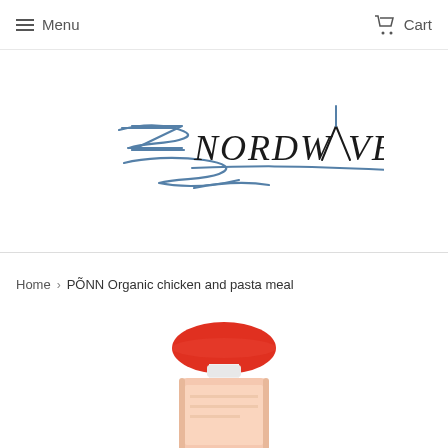Menu   Cart
[Figure (logo): Nordwave brand logo with stylized blue handwritten lettering and swoosh graphic]
Home › PÕNN Organic chicken and pasta meal
[Figure (photo): Product photo showing top portion of a food pouch with red cap/spout, partially visible]